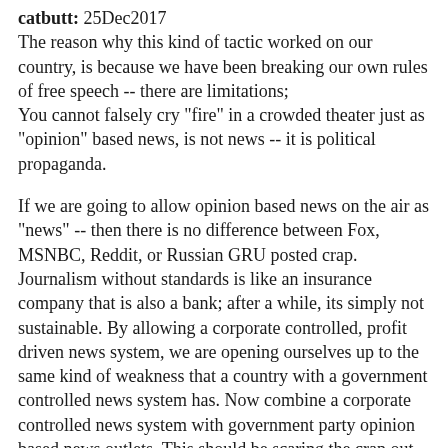catbutt: 25Dec2017
The reason why this kind of tactic worked on our country, is because we have been breaking our own rules of free speech -- there are limitations;
You cannot falsely cry "fire" in a crowded theater just as "opinion" based news, is not news -- it is political propaganda.
If we are going to allow opinion based news on the air as "news" -- then there is no difference between Fox, MSNBC, Reddit, or Russian GRU posted crap. Journalism without standards is like an insurance company that is also a bank; after a while, its simply not sustainable. By allowing a corporate controlled, profit driven news system, we are opening ourselves up to the same kind of weakness that a country with a government controlled news system has. Now combine a corporate controlled news system with government party opinion based news outlets. This should be scaring the crap out of us, not just annoying us.
Look up a set of laws called "the Spitzer act" -- this party based, opinion news crap is...